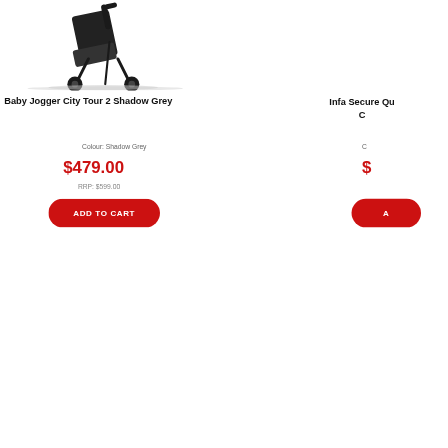[Figure (photo): Baby Jogger City Tour 2 stroller in Shadow Grey, shown from the front-side angle on white background]
Baby Jogger City Tour 2 Shadow Grey
Infa Secure Qu... C...
Colour: Shadow Grey
C...
$479.00
$...
RRP: $599.00
ADD TO CART
A...